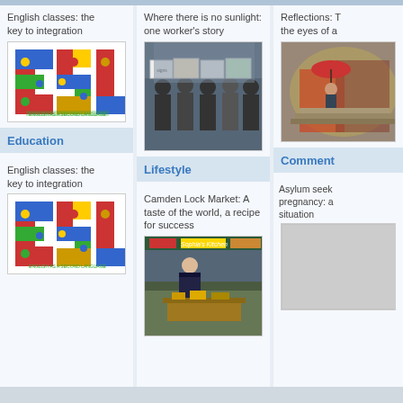English classes: the key to integration
[Figure (photo): ESL - English as a Second Language logo with international flags]
Education
English classes: the key to integration
[Figure (photo): ESL - English as a Second Language logo with international flags]
Where there is no sunlight: one worker's story
[Figure (photo): Group of people holding signs]
Lifestyle
Camden Lock Market: A taste of the world, a recipe for success
[Figure (photo): Man standing at market stall]
Reflections: the eyes of a
[Figure (photo): Colorful artistic painting]
Comment
Asylum seekers pregnancy: a situation
[Figure (photo): Comment image placeholder]